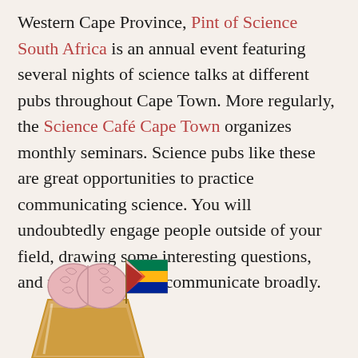Western Cape Province, Pint of Science South Africa is an annual event featuring several nights of science talks at different pubs throughout Cape Town. More regularly, the Science Café Cape Town organizes monthly seminars. Science pubs like these are great opportunities to practice communicating science. You will undoubtedly engage people outside of your field, drawing some interesting questions, and requiring you to communicate broadly.
[Figure (illustration): Illustration of a pint glass with a brain on top and a South African flag, representing Pint of Science South Africa.]